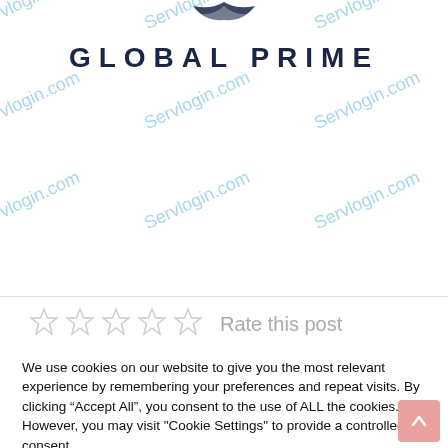[Figure (logo): Global Prime logo with bird icon and text 'GLOBAL PRIME' in dark navy, surrounded by 'Servlogin.com' watermarks]
[Figure (other): Five empty star rating icons with text 'Rate this post']
We use cookies on our website to give you the most relevant experience by remembering your preferences and repeat visits. By clicking “Accept All”, you consent to the use of ALL the cookies. However, you may visit "Cookie Settings" to provide a controlled consent.